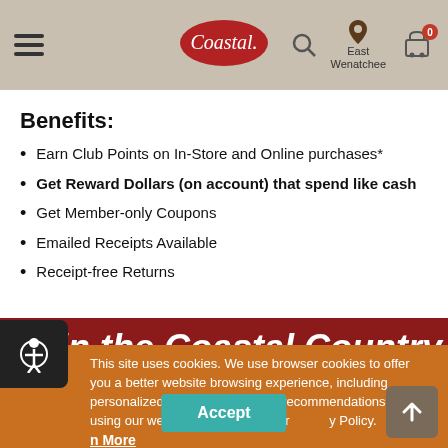[Figure (screenshot): Coastal brand navigation bar with hamburger menu, Coastal logo (red oval), search icon, location pin with 'East Wenatchee' text, and shopping cart with 0 badge]
Benefits:
Earn Club Points on In-Store and Online purchases*
Get Reward Dollars (on account) that spend like cash
Get Member-only Coupons
Emailed Receipts Available
Receipt-free Returns
Join the Coastal Country Club
This site uses cookies. We use browser cookies to offer you a better website browsing experience, including personalized product and ent recommendations. By using our website you agree to our y Policy.
n More
Accept